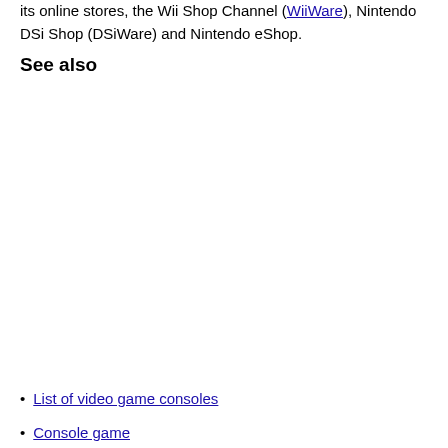its online stores, the Wii Shop Channel (WiiWare), Nintendo DSi Shop (DSiWare) and Nintendo eShop.
See also
List of video game consoles
Console game